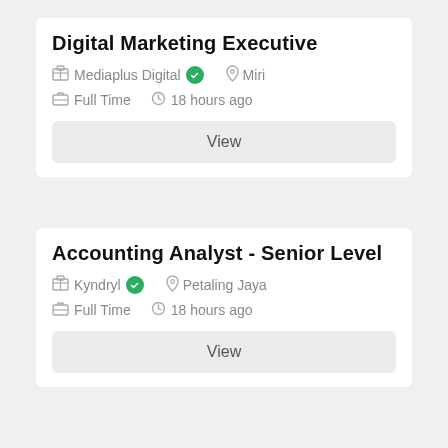Digital Marketing Executive
Mediaplus Digital · Miri
Full Time · 18 hours ago
View
Accounting Analyst - Senior Level
Kyndryl · Petaling Jaya
Full Time · 18 hours ago
View